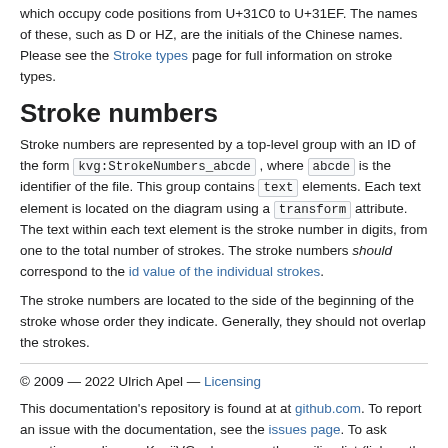which occupy code positions from U+31C0 to U+31EF. The names of these, such as D or HZ, are the initials of the Chinese names.
Please see the Stroke types page for full information on stroke types.
Stroke numbers
Stroke numbers are represented by a top-level group with an ID of the form kvg:StrokeNumbers_abcde , where abcde is the identifier of the file. This group contains text elements. Each text element is located on the diagram using a transform attribute. The text within each text element is the stroke number in digits, from one to the total number of strokes. The stroke numbers should correspond to the id value of the individual strokes.
The stroke numbers are located to the side of the beginning of the stroke whose order they indicate. Generally, they should not overlap the strokes.
© 2009 — 2022 Ulrich Apel — Licensing
This documentation's repository is found at at github.com. To report an issue with the documentation, see the issues page. To ask questions or discuss KanjiVG, please use the mailing list (link on the left of page).